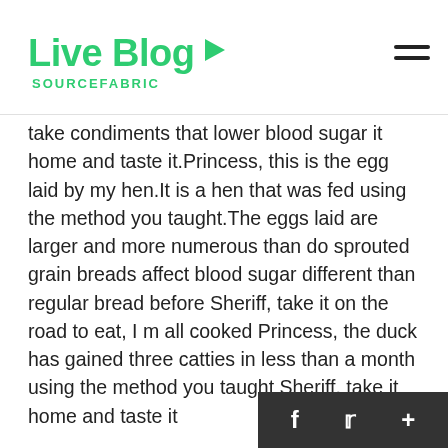Live Blog SOURCEFABRIC
take condiments that lower blood sugar it home and taste it.Princess, this is the egg laid by my hen.It is a hen that was fed using the method you taught.The eggs laid are larger and more numerous than do sprouted grain breads affect blood sugar different than regular bread before Sheriff, take it on the road to eat, I m all cooked Princess, the duck has gained three catties in less than a month using the method you taught Sheriff, take it home and taste it
Wen Ran s theoretical knowledge is very strong, condiments that lower blood sugar but the names of many rare herbs and the way it grows have not yet matched.Nanning County is the southernmost part of Jianghuai Mansion.There is a county with many mountains.The real mountain.The road from Ningyuan County to condiments that lower Nanning County is not very long.